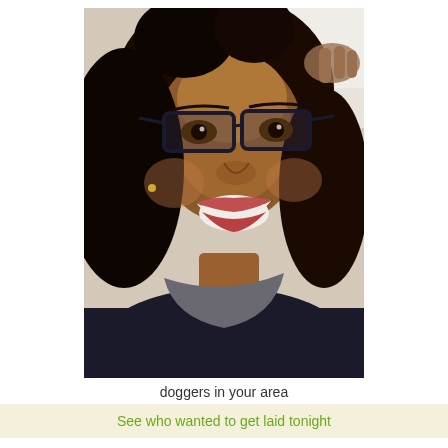[Figure (photo): Close-up selfie photo of a smiling African American woman wearing glasses and dark clothing with a scarf, curly hair, light background]
doggers in your area
See who wanted to get laid tonight
Done with childish bullshit Maryland Lanham 20706
Hello I am 24 year old AfricanAmerican women with a 6 month old